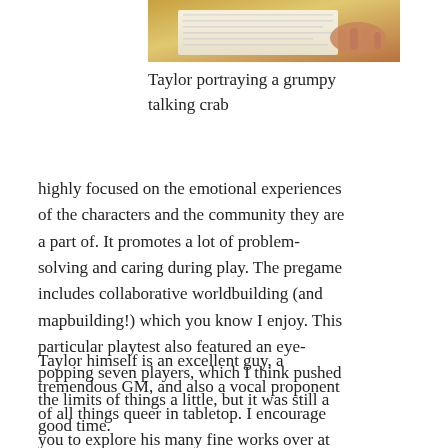[Figure (photo): Partial photo of a person at a table, appearing to be at a tabletop gaming session, cropped showing hands and papers]
Taylor portraying a grumpy talking crab
highly focused on the emotional experiences of the characters and the community they are a part of. It promotes a lot of problem-solving and caring during play. The pregame includes collaborative worldbuilding (and mapbuilding!) which you know I enjoy. This particular playtest also featured an eye-popping seven players, which I think pushed the limits of things a little, but it was still a good time.
Taylor himself is an excellent guy, a tremendous GM, and also a vocal proponent of all things queer in tabletop. I encourage you to explore his many fine works over at Riverhouse Games, including this excellent interview...